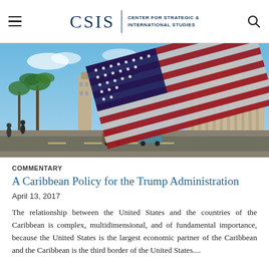CSIS | CENTER FOR STRATEGIC & INTERNATIONAL STUDIES
[Figure (photo): An American flag waving in foreground with Havana city scene and classical capitol building in background, Cuba street view with vintage cars and palm trees.]
COMMENTARY
A Caribbean Policy for the Trump Administration
April 13, 2017
The relationship between the United States and the countries of the Caribbean is complex, multidimensional, and of fundamental importance, because the United States is the largest economic partner of the Caribbean and the Caribbean is the third border of the United States....